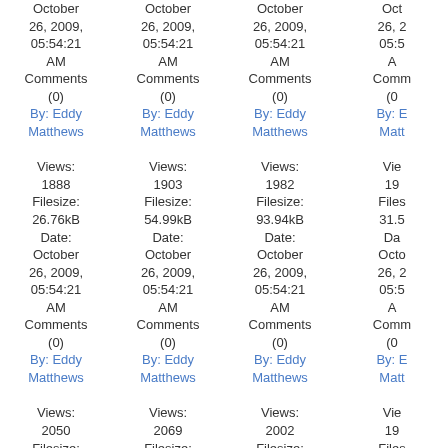| Col1 | Col2 | Col3 | Col4 |
| --- | --- | --- | --- |
| October 26, 2009, 05:54:21 AM | October 26, 2009, 05:54:21 AM | October 26, 2009, 05:54:21 AM | October 26, 2009, 05:54:21 AM |
| Comments (0) | Comments (0) | Comments (0) | Comments (0) |
| By: Eddy Matthews | By: Eddy Matthews | By: Eddy Matthews | By: Eddy Matthews |
| Views: 1888 | Views: 1903 | Views: 1982 | Views: 19... |
| Filesize: 26.76kB | Filesize: 54.99kB | Filesize: 93.94kB | Filesize: 31.5... |
| Date: October 26, 2009, 05:54:21 AM | Date: October 26, 2009, 05:54:21 AM | Date: October 26, 2009, 05:54:21 AM | Date: October 26, 2009, 05:5... |
| Comments (0) | Comments (0) | Comments (0) | Comments (0) |
| By: Eddy Matthews | By: Eddy Matthews | By: Eddy Matthews | By: Eddy Matthews |
| Views: 2050 | Views: 2069 | Views: 2002 | Views: 19... |
| Filesize: 46.19kB | Filesize: 70.04kB | Filesize: 50.38kB | Filesize: 119.3... |
| Date: October | Date: October | Date: October | Date: Octo... |